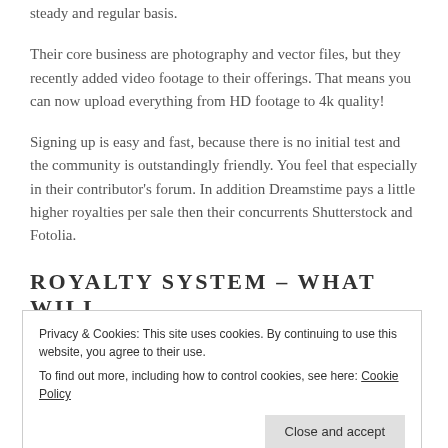steady and regular basis.
Their core business are photography and vector files, but they recently added video footage to their offerings. That means you can now upload everything from HD footage to 4k quality!
Signing up is easy and fast, because there is no initial test and the community is outstandingly friendly. You feel that especially in their contributor's forum. In addition Dreamstime pays a little higher royalties per sale then their concurrents Shutterstock and Fotolia.
ROYALTY SYSTEM – WHAT WILL
Privacy & Cookies: This site uses cookies. By continuing to use this website, you agree to their use.
To find out more, including how to control cookies, see here: Cookie Policy
a higher level and sells for a higher price.